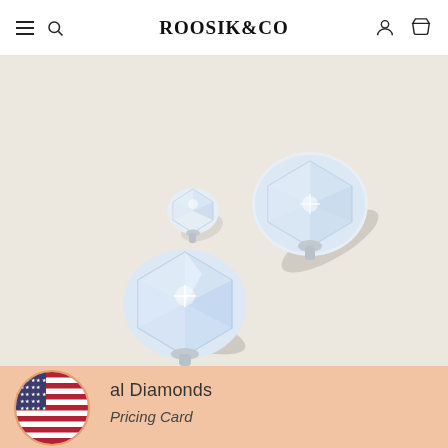ROOSIK&CO
[Figure (photo): Close-up photograph of three sparkling diamond/crystal gemstones of different sizes on a light beige textured background. The stones appear to be round-cut cubic zirconia or similar clear gemstones with silver metallic backs, arranged diagonally.]
al Diamonds
Pricing Card